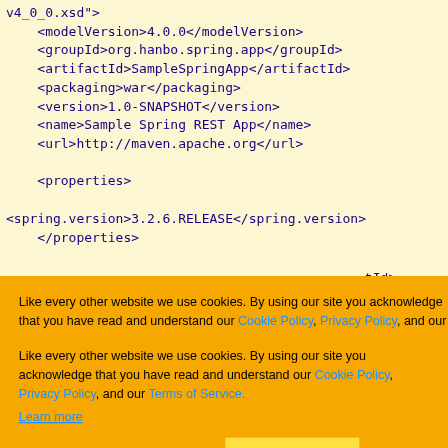v4_0_0.xsd">
    <modelVersion>4.0.0</modelVersion>
    <groupId>org.hanbo.spring.app</groupId>
    <artifactId>SampleSpringApp</artifactId>
    <packaging>war</packaging>
    <version>1.0-SNAPSHOT</version>
    <name>Sample Spring REST App</name>
    <url>http://maven.apache.org</url>

    <properties>

<spring.version>3.2.6.RELEASE</spring.version>
    </properties>
[Figure (screenshot): Cookie consent banner overlay with orange background. Text reads: 'Like every other website we use cookies. By using our site you acknowledge that you have read and understand our Cookie Policy, Privacy Policy, and our Terms of Service. Learn more'. Three buttons: 'Ask me later', 'Decline', 'Allow cookies'.]